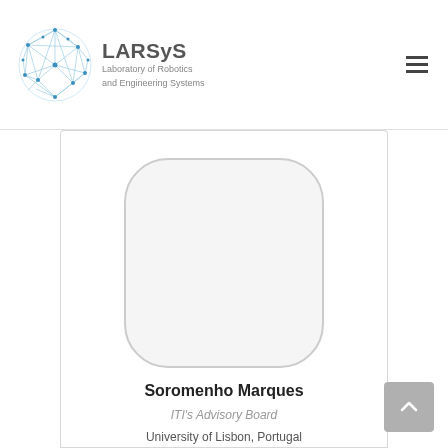[Figure (logo): LARSyS logo — a circular blue network/mesh graphic followed by text 'LARSyS' in bold grey and 'Laboratory of Robotics and Engineering Systems' in smaller grey text]
[Figure (photo): Rounded-rectangle avatar placeholder (light grey fill, grey border) representing a profile photo]
Soromenho Marques
ITI's Advisory Board
University of Lisbon, Portugal